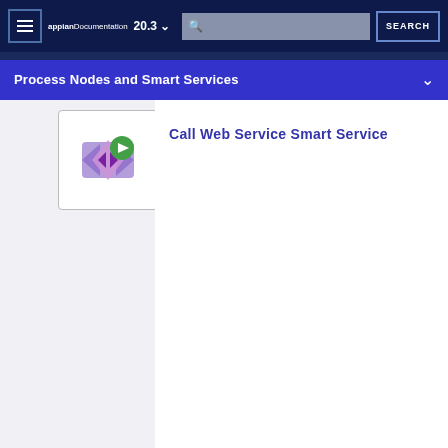appian Documentation 20.3 SEARCH
Process Nodes and Smart Services
[Figure (illustration): Call Web Service Smart Service icon — a purple/mauve diamond shape with arrows, overlaid with a green play button circle]
Call Web Service Smart Service